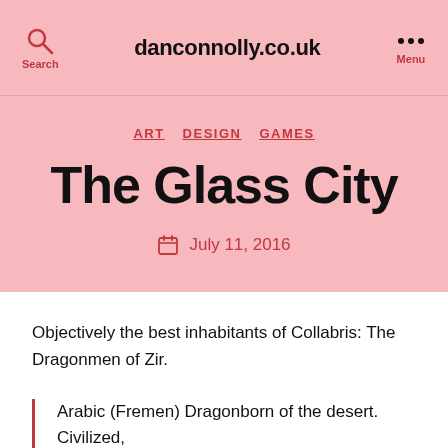danconnolly.co.uk
ART  DESIGN  GAMES
The Glass City
July 11, 2016
Objectively the best inhabitants of Collabris: The Dragonmen of Zir.
Arabic (Fremen) Dragonborn of the desert. Civilized,